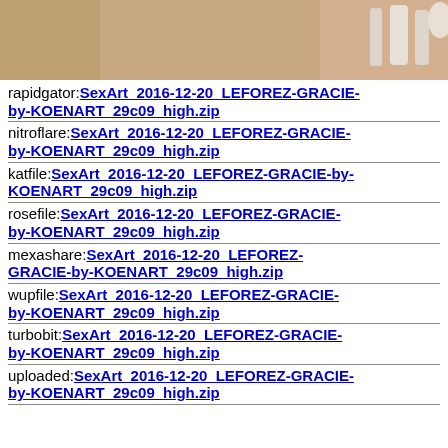[Figure (photo): Photo cropped at top showing partial figure, light background with white objects]
rapidgator:SexArt_2016-12-20_LEFOREZ-GRACIE-by-KOENART_29c09_high.zip
nitroflare:SexArt_2016-12-20_LEFOREZ-GRACIE-by-KOENART_29c09_high.zip
katfile:SexArt_2016-12-20_LEFOREZ-GRACIE-by-KOENART_29c09_high.zip
rosefile:SexArt_2016-12-20_LEFOREZ-GRACIE-by-KOENART_29c09_high.zip
mexashare:SexArt_2016-12-20_LEFOREZ-GRACIE-by-KOENART_29c09_high.zip
wupfile:SexArt_2016-12-20_LEFOREZ-GRACIE-by-KOENART_29c09_high.zip
turbobit:SexArt_2016-12-20_LEFOREZ-GRACIE-by-KOENART_29c09_high.zip
uploaded:SexArt_2016-12-20_LEFOREZ-GRACIE-by-KOENART_29c09_high.zip